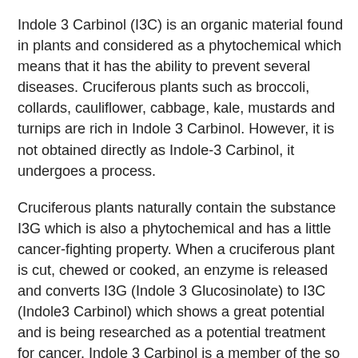Indole 3 Carbinol (I3C) is an organic material found in plants and considered as a phytochemical which means that it has the ability to prevent several diseases. Cruciferous plants such as broccoli, collards, cauliflower, cabbage, kale, mustards and turnips are rich in Indole 3 Carbinol. However, it is not obtained directly as Indole-3 Carbinol, it undergoes a process.
Cruciferous plants naturally contain the substance I3G which is also a phytochemical and has a little cancer-fighting property. When a cruciferous plant is cut, chewed or cooked, an enzyme is released and converts I3G (Indole 3 Glucosinolate) to I3C (Indole3 Carbinol) which shows a great potential and is being researched as a potential treatment for cancer. Indole 3 Carbinol is a member of the so called Glucosinolates family; these compounds are anti-oxidants and have natural detoxifying property which is really helpful